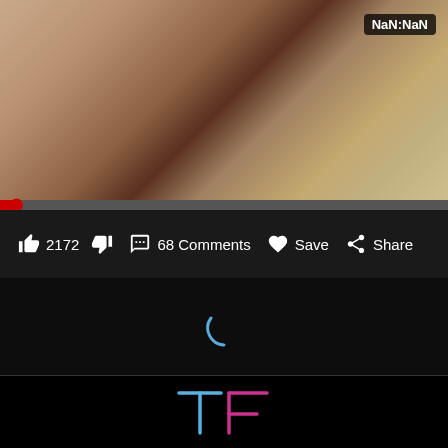[Figure (screenshot): Video player screenshot showing a room interior with NaN:NaN timestamp label, red progress bar at bottom, and video controls toolbar with like (2172), dislike, 68 Comments, Save, Share buttons. Below is a dark loading area with a blue spinner arc. At the bottom is a TF logo in neon blue and pink outlines.]
NaN:NaN
2172
68 Comments
Save
Share